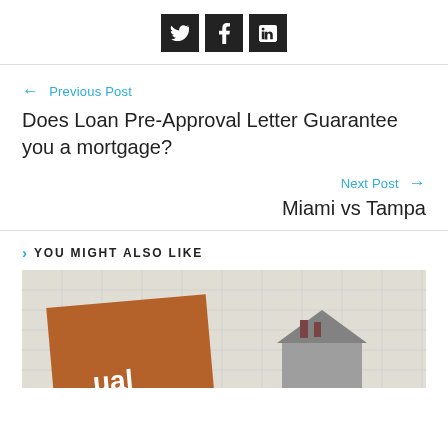[Figure (other): Social share buttons: Twitter (bird icon), Facebook (f icon), LinkedIn (in icon) — dark square buttons]
← Previous Post
Does Loan Pre-Approval Letter Guarantee you a mortgage?
Next Post →
Miami vs Tampa
> YOU MIGHT ALSO LIKE
[Figure (photo): Photograph showing a brown envelope/folder and a gray miniature house model on a grid/blueprint background]